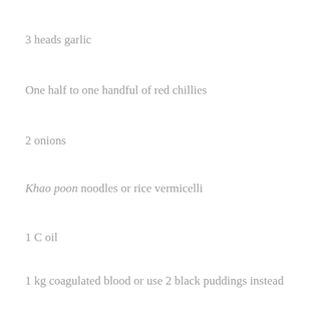3 heads garlic
One half to one handful of red chillies
2 onions
Khao poon noodles or rice vermicelli
1 C oil
1 kg coagulated blood or use 2 black puddings instead